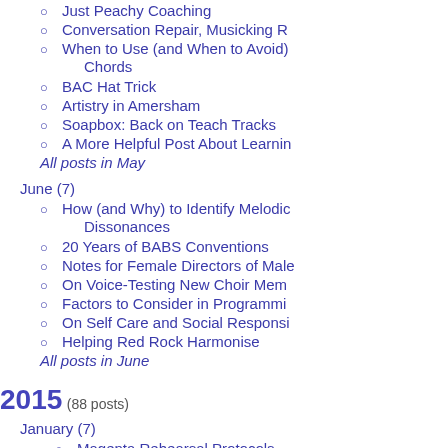Just Peachy Coaching
Conversation Repair, Musicking R
When to Use (and When to Avoid) Chords
BAC Hat Trick
Artistry in Amersham
Soapbox: Back on Teach Tracks
A More Helpful Post About Learnin
All posts in May
June (7)
How (and Why) to Identify Melodic Dissonances
20 Years of BABS Conventions
Notes for Female Directors of Male
On Voice-Testing New Choir Mem
Factors to Consider in Programmi
On Self Care and Social Responsi
Helping Red Rock Harmonise
All posts in June
2015 (88 posts)
January (7)
Magenta Rehearsal Protocols
Soapbox: How Can You Tell a Good
On the Riviera...
Tackling the Too-Hard Tray
The Red Queen Effect, and its Em Impact